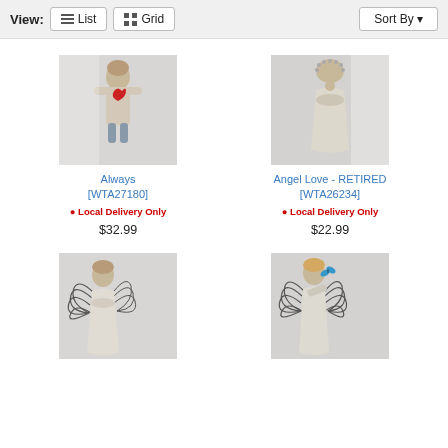View: List | Grid | Sort By
[Figure (photo): Willow Tree figurine 'Always' [WTA27180] - child holding red heart]
Always [WTA27180]
● Local Delivery Only
$32.99
[Figure (photo): Willow Tree figurine 'Angel Love - RETIRED' [WTA26234] - angel figure praying]
Angel Love - RETIRED [WTA26234]
● Local Delivery Only
$22.99
[Figure (photo): Willow Tree angel figurine with wire wings facing left]
[Figure (photo): Willow Tree angel figurine with wire wings holding butterfly]